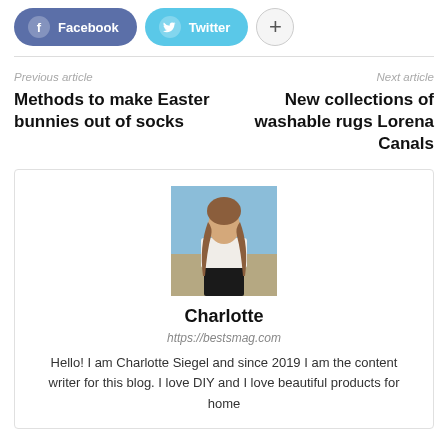[Figure (other): Social share buttons: Facebook (blue-purple pill), Twitter (blue pill), plus (+) circle button]
Previous article
Methods to make Easter bunnies out of socks
Next article
New collections of washable rugs Lorena Canals
[Figure (photo): Photo of Charlotte, a young woman with long hair, wearing a white top and dark pants, standing outdoors on a sandy/rocky background with blue sky.]
Charlotte
https://bestsmag.com
Hello! I am Charlotte Siegel and since 2019 I am the content writer for this blog. I love DIY and I love beautiful products for home